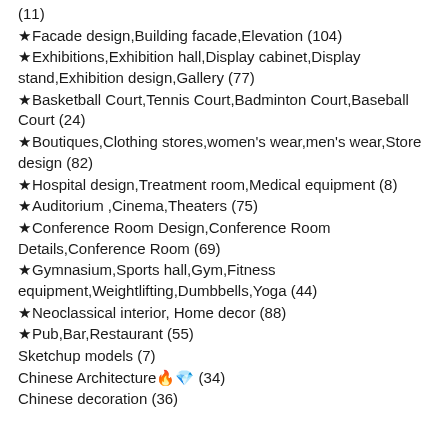(11)
★Facade design,Building facade,Elevation (104)
★Exhibitions,Exhibition hall,Display cabinet,Display stand,Exhibition design,Gallery (77)
★Basketball Court,Tennis Court,Badminton Court,Baseball Court (24)
★Boutiques,Clothing stores,women's wear,men's wear,Store design (82)
★Hospital design,Treatment room,Medical equipment (8)
★Auditorium ,Cinema,Theaters (75)
★Conference Room Design,Conference Room Details,Conference Room (69)
★Gymnasium,Sports hall,Gym,Fitness equipment,Weightlifting,Dumbbells,Yoga (44)
★Neoclassical interior, Home decor (88)
★Pub,Bar,Restaurant (55)
Sketchup models (7)
Chinese Architecture🔥💎 (34)
Chinese decoration (36)